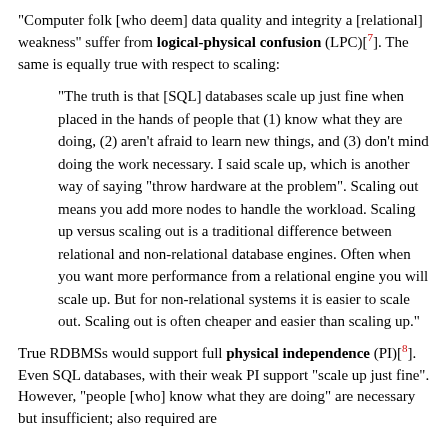"Computer folk [who deem] data quality and integrity a [relational] weakness" suffer from logical-physical confusion (LPC)[7]. The same is equally true with respect to scaling:
"The truth is that [SQL] databases scale up just fine when placed in the hands of people that (1) know what they are doing, (2) aren't afraid to learn new things, and (3) don't mind doing the work necessary. I said scale up, which is another way of saying "throw hardware at the problem". Scaling out means you add more nodes to handle the workload. Scaling up versus scaling out is a traditional difference between relational and non-relational database engines. Often when you want more performance from a relational engine you will scale up. But for non-relational systems it is easier to scale out. Scaling out is often cheaper and easier than scaling up."
True RDBMSs would support full physical independence (PI)[8]. Even SQL databases, with their weak PI support "scale up just fine". However, "people [who] know what they are doing" are necessary but insufficient; also required are